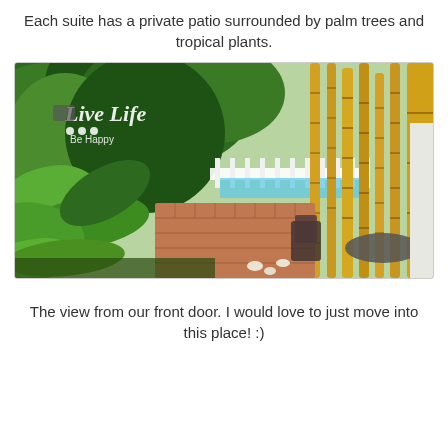Each suite has a private patio surrounded by palm trees and tropical plants.
[Figure (photo): Outdoor tropical garden path with lush green plants, tall yellow bamboo stalks on the right, a white fence with a pool visible in the background, and patio furniture (chair and round table) in the lower right. A watermark logo reading 'Live Life Be Happy' appears in the upper left corner.]
The view from our front door. I would love to just move into this place! :)